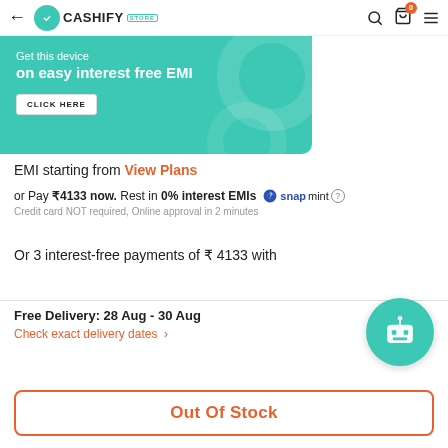Cashify Store
[Figure (screenshot): Teal EMI banner: 'Get this device on easy interest free EMI' with CLICK HERE button]
EMI starting from View Plans
or Pay ₹4133 now. Rest in 0% interest EMIs snapmint (?) Credit card NOT required, Online approval in 2 minutes
Or 3 interest-free payments of ₹ 4133 with
Free Delivery: 28 Aug - 30 Aug
Check exact delivery dates ›
Out Of Stock